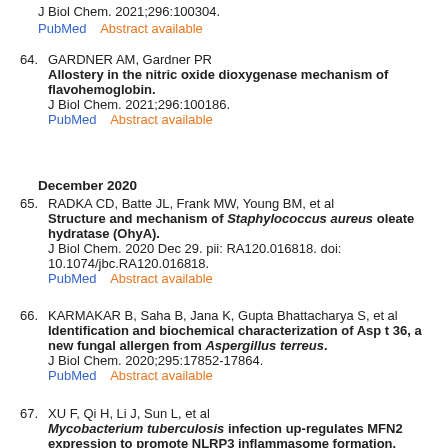J Biol Chem. 2021;296:100304.
PubMed    Abstract available
64. GARDNER AM, Gardner PR
Allostery in the nitric oxide dioxygenase mechanism of flavohemoglobin.
J Biol Chem. 2021;296:100186.
PubMed    Abstract available
December 2020
65. RADKA CD, Batte JL, Frank MW, Young BM, et al
Structure and mechanism of Staphylococcus aureus oleate hydratase (OhyA).
J Biol Chem. 2020 Dec 29. pii: RA120.016818. doi: 10.1074/jbc.RA120.016818.
PubMed    Abstract available
66. KARMAKAR B, Saha B, Jana K, Gupta Bhattacharya S, et al
Identification and biochemical characterization of Asp t 36, a new fungal allergen from Aspergillus terreus.
J Biol Chem. 2020;295:17852-17864.
PubMed    Abstract available
67. XU F, Qi H, Li J, Sun L, et al
Mycobacterium tuberculosis infection up-regulates MFN2 expression to promote NLRP3 inflammasome formation.